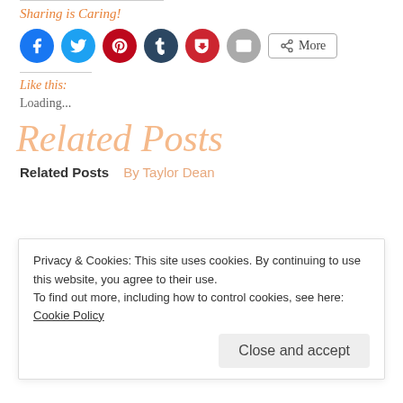Sharing is Caring!
[Figure (infographic): Row of social sharing icon buttons: Facebook (blue), Twitter (cyan), Pinterest (red), Tumblr (dark blue), Pocket (red), Email (grey), and a More button]
Like this:
Loading...
Related Posts
Related Posts   By Taylor Dean
Privacy & Cookies: This site uses cookies. By continuing to use this website, you agree to their use.
To find out more, including how to control cookies, see here: Cookie Policy
Close and accept